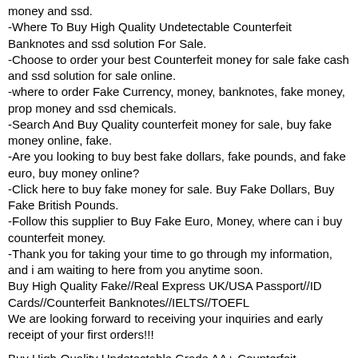money and ssd.
-Where To Buy High Quality Undetectable Counterfeit Banknotes and ssd solution For Sale.
-Choose to order your best Counterfeit money for sale fake cash and ssd solution for sale online.
-where to order Fake Currency, money, banknotes, fake money, prop money and ssd chemicals.
-Search And Buy Quality counterfeit money for sale, buy fake money online, fake.
-Are you looking to buy best fake dollars, fake pounds, and fake euro, buy money online?
-Click here to buy fake money for sale. Buy Fake Dollars, Buy Fake British Pounds.
-Follow this supplier to Buy Fake Euro, Money, where can i buy counterfeit money.
-Thank you for taking your time to go through my information, and i am waiting to here from you anytime soon.
Buy High Quality Fake//Real Express UK/USA Passport//ID Cards//Counterfeit Banknotes//IELTS//TOEFL
We are looking forward to receiving your inquiries and early receipt of your first orders!!!
Buy High-Quality Undetectable Grade AA+ Counterfeit Banknotes Real Fake Passports,Id Cards,Drivers License GRADE AA+ UNDETECTABLE COUNTERFEIT BANK